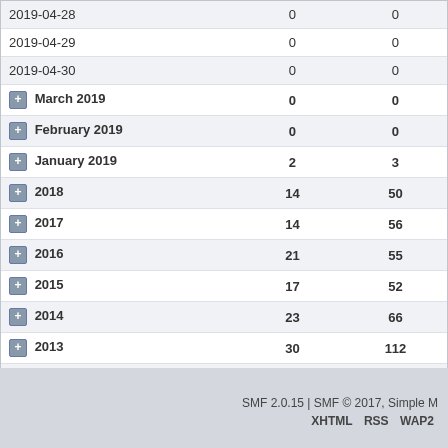|  |  |  |
| --- | --- | --- |
| 2019-04-28 | 0 | 0 |
| 2019-04-29 | 0 | 0 |
| 2019-04-30 | 0 | 0 |
| March 2019 | 0 | 0 |
| February 2019 | 0 | 0 |
| January 2019 | 2 | 3 |
| 2018 | 14 | 50 |
| 2017 | 14 | 56 |
| 2016 | 21 | 55 |
| 2015 | 17 | 52 |
| 2014 | 23 | 66 |
| 2013 | 30 | 112 |
| 2012 | 139 | 637 |
| 2011 | 5 | 12 |
SMF 2.0.15 | SMF © 2017, Simple M  XHTML  RSS  WAP2